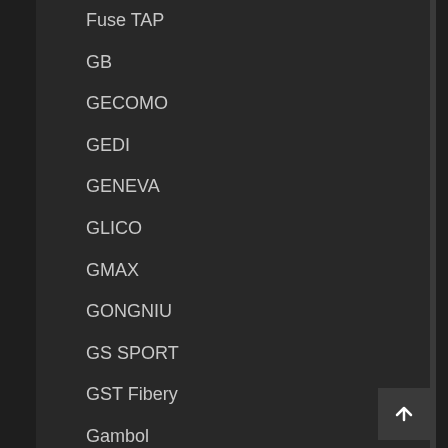Fuse TAP
GB
GECOMO
GEDI
GENEVA
GLICO
GMAX
GONGNIU
GS SPORT
GST Fibery
Gambol
Gamesir
Gateway
Giffarine